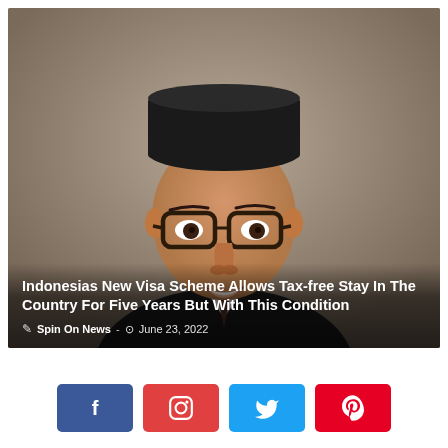[Figure (photo): Portrait photo of Indonesian man wearing black peci/songkok cap and dark suit with glasses, smiling, against neutral background. News headline and metadata overlaid at bottom of image.]
Indonesias New Visa Scheme Allows Tax-free Stay In The Country For Five Years But With This Condition
Spin On News  -  June 23, 2022